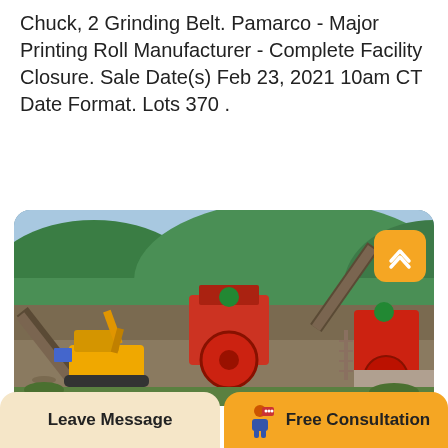Chuck, 2 Grinding Belt. Pamarco - Major Printing Roll Manufacturer - Complete Facility Closure. Sale Date(s) Feb 23, 2021 10am CT Date Format. Lots 370 .
Read More
[Figure (photo): Quarry or mining facility with yellow excavator/bulldozer in foreground, large industrial crushing/conveyor equipment in red and orange tones, green forested hills in background, outdoor daylight scene.]
Leave Message
Free Consultation